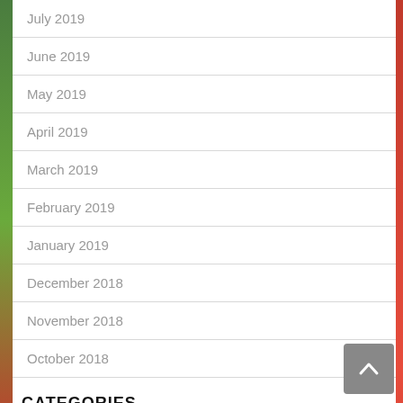July 2019
June 2019
May 2019
April 2019
March 2019
February 2019
January 2019
December 2018
November 2018
October 2018
CATEGORIES
App Menu Food
Cake Recipes